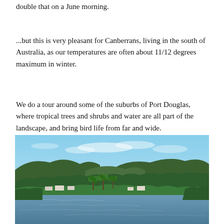double that on a June morning.
...but this is very pleasant for Canberrans, living in the south of Australia, as our temperatures are often about 11/12 degrees maximum in winter.
We do a tour around some of the suburbs of Port Douglas, where tropical trees and shrubs and water are all part of the landscape, and bring bird life from far and wide.
[Figure (photo): A scenic view of a tropical waterway or lake in Port Douglas, Australia, with calm water in the foreground, lush green trees and palm trees along the water's edge, residential buildings visible among the trees, and green hills in the background under a blue sky with light clouds.]